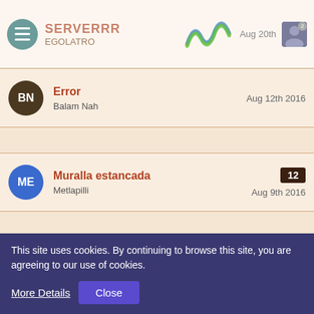SERVERRR EGOLATRO — Aug 20th 2016
Error — Balam Nah — Aug 12th 2016
Muralla estancada — Metlapilli — Aug 9th 2016 — 12 replies
‹ 1 2 3 4 5 ... 12 ›
Statistics
221 Threads · 1,481 Posts (0.53 Posts per Day)
This site uses cookies. By continuing to browse this site, you are agreeing to our use of cookies.